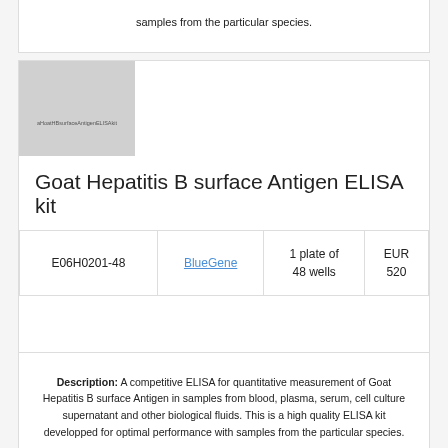samples from the particular species.
[Figure (photo): Product image placeholder for Goat Hepatitis B surface Antigen ELISA kit]
Goat Hepatitis B surface Antigen ELISA kit
|  |  |  |  |
| --- | --- | --- | --- |
| E06H0201-48 | BlueGene | 1 plate of 48 wells | EUR 520 |
Description: A competitive ELISA for quantitative measurement of Goat Hepatitis B surface Antigen in samples from blood, plasma, serum, cell culture supernatant and other biological fluids. This is a high quality ELISA kit developped for optimal performance with samples from the particular species.